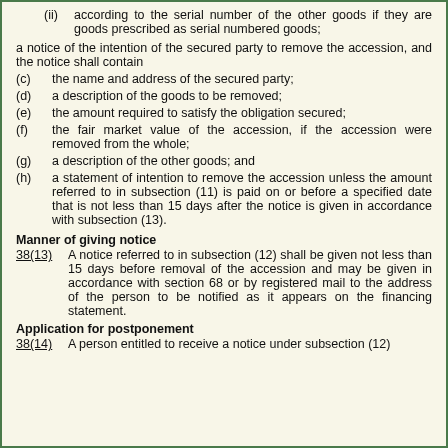(ii) according to the serial number of the other goods if they are goods prescribed as serial numbered goods;
a notice of the intention of the secured party to remove the accession, and the notice shall contain
(c) the name and address of the secured party;
(d) a description of the goods to be removed;
(e) the amount required to satisfy the obligation secured;
(f) the fair market value of the accession, if the accession were removed from the whole;
(g) a description of the other goods; and
(h) a statement of intention to remove the accession unless the amount referred to in subsection (11) is paid on or before a specified date that is not less than 15 days after the notice is given in accordance with subsection (13).
Manner of giving notice
38(13)      A notice referred to in subsection (12) shall be given not less than 15 days before removal of the accession and may be given in accordance with section 68 or by registered mail to the address of the person to be notified as it appears on the financing statement.
Application for postponement
38(14)      A person entitled to receive a notice under subsection (12)